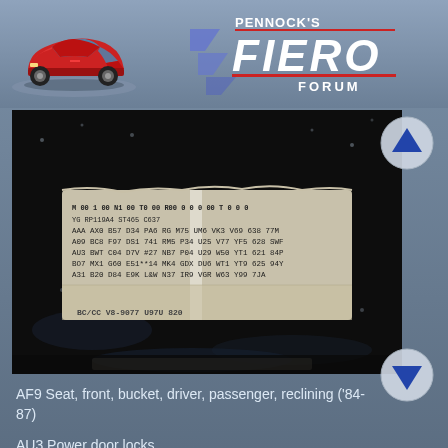Pennock's Fiero Forum
[Figure (photo): Close-up photograph of a vehicle options/RPO sticker showing alphanumeric option codes including AF9, AU3, and others. The sticker is worn and partially damaged. Bottom shows codes: BC/CC, V8-9077, U970, 820]
AF9 Seat, front, bucket, driver, passenger, reclining ('84-87)
AU3 Power door locks